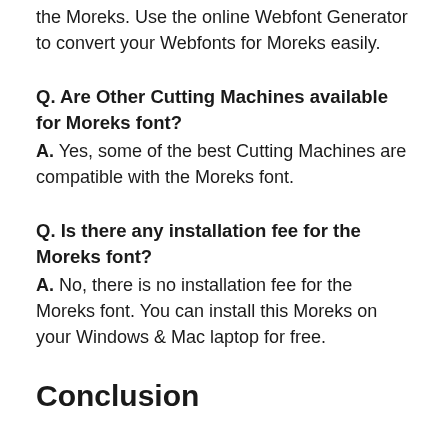the Moreks. Use the online Webfont Generator to convert your Webfonts for Moreks easily.
Q. Are Other Cutting Machines available for Moreks font?
A. Yes, some of the best Cutting Machines are compatible with the Moreks font.
Q. Is there any installation fee for the Moreks font?
A. No, there is no installation fee for the Moreks font. You can install this Moreks on your Windows & Mac laptop for free.
Conclusion